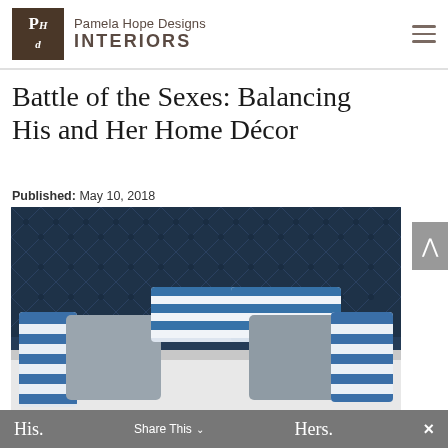Pamela Hope Designs INTERIORS
Battle of the Sexes: Balancing His and Her Home Décor
Published: May 10, 2018
[Figure (photo): Bedroom with tufted dark blue headboard and striped blue-and-white pillows with gray pillows on a white bed]
His.   Share This   Hers.